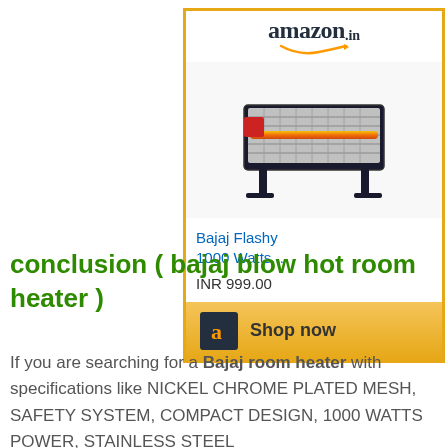[Figure (screenshot): Amazon.in advertisement box showing a Bajaj Flashy 1000W room heater product image, title 'Bajaj Flashy 1000 Watts...', price 'INR 999.00', and a 'Shop now' button with Amazon logo on gold background.]
conclusion ( bajaj blow hot room heater )
If you are searching for a Bajaj room heater with specifications like NICKEL CHROME PLATED MESH, SAFETY SYSTEM, COMPACT DESIGN, 1000 WATTS POWER, STAINLESS STEEL